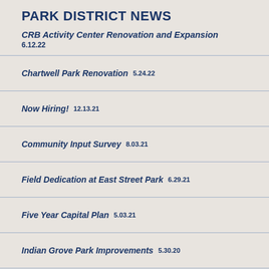PARK DISTRICT NEWS
CRB Activity Center Renovation and Expansion  6.12.22
Chartwell Park Renovation  5.24.22
Now Hiring!  12.13.21
Community Input Survey  8.03.21
Field Dedication at East Street Park  6.29.21
Five Year Capital Plan  5.03.21
Indian Grove Park Improvements  5.30.20
Knolls Park Improvements  5.30.20
Timber Ridge Park Improvements  5.30.20